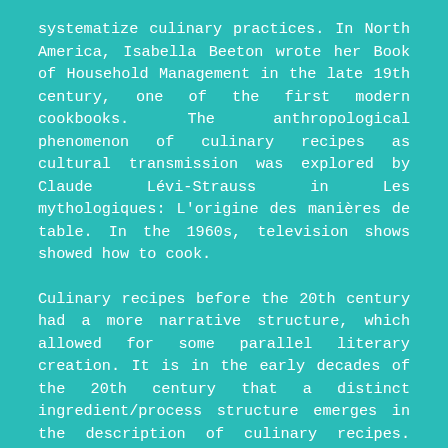systematize culinary practices. In North America, Isabella Beeton wrote her Book of Household Management in the late 19th century, one of the first modern cookbooks. The anthropological phenomenon of culinary recipes as cultural transmission was explored by Claude Lévi-Strauss in Les mythologiques: L'origine des manières de table. In the 1960s, television shows showed how to cook.
Culinary recipes before the 20th century had a more narrative structure, which allowed for some parallel literary creation. It is in the early decades of the 20th century that a distinct ingredient/process structure emerges in the description of culinary recipes. While the oral tradition crystallized in culinary literature in the form of cookbooks written from the 18th century onwards, in the 20th century, recipes were described in television shows, in magazines and were also very popular on various specialized blogs.